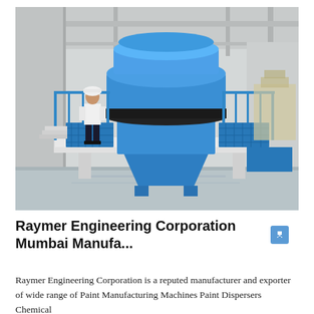[Figure (photo): A large industrial blue-painted machine (likely a VSI sand making machine or crusher) mounted on a white steel platform inside a factory/warehouse. A man in white shirt, dark trousers, and hard hat stands to the left on the platform steps. Blue safety railings visible on both sides. The machine has a large circular blue top section and a conical discharge chute at the bottom.]
Raymer Engineering Corporation Mumbai Manufa...
Raymer Engineering Corporation is a reputed manufacturer and exporter of wide range of Paint Manufacturing Machines Paint Dispersers Chemical